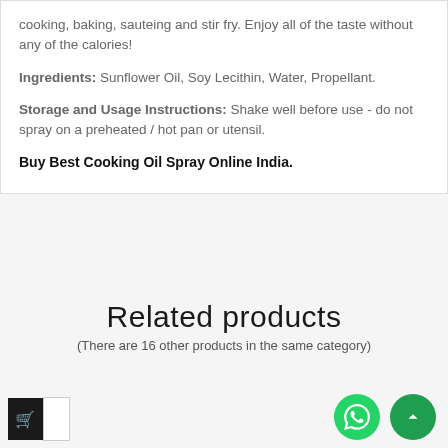cooking, baking, sauteing and stir fry. Enjoy all of the taste without any of the calories!
Ingredients: Sunflower Oil, Soy Lecithin, Water, Propellant.
Storage and Usage Instructions: Shake well before use - do not spray on a preheated / hot pan or utensil.
Buy Best Cooking Oil Spray Online India.
Related products
(There are 16 other products in the same category)